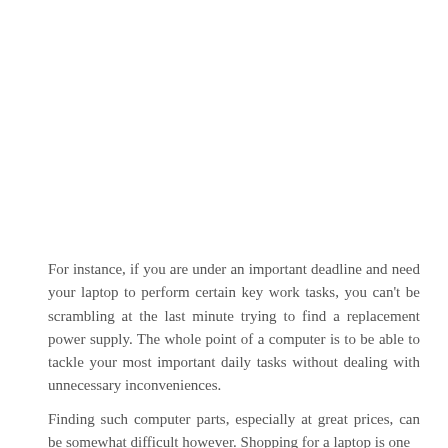For instance, if you are under an important deadline and need your laptop to perform certain key work tasks, you can't be scrambling at the last minute trying to find a replacement power supply. The whole point of a computer is to be able to tackle your most important daily tasks without dealing with unnecessary inconveniences.
Finding such computer parts, especially at great prices, can be somewhat difficult however. Shopping for a laptop is one